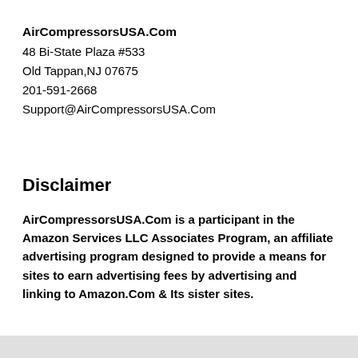AirCompressorsUSA.Com
48 Bi-State Plaza #533
Old Tappan,NJ 07675
201-591-2668
Support@AirCompressorsUSA.Com
Disclaimer
AirCompressorsUSA.Com is a participant in the Amazon Services LLC Associates Program, an affiliate advertising program designed to provide a means for sites to earn advertising fees by advertising and linking to Amazon.Com & Its sister sites.